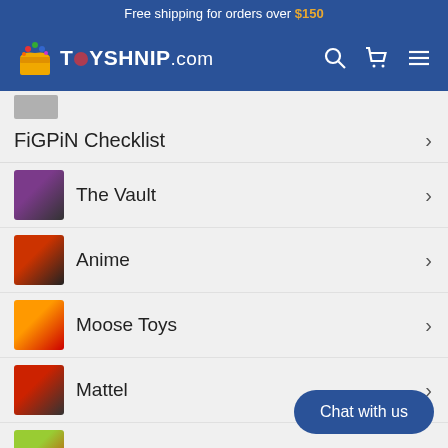Free shipping for orders over $150
[Figure (logo): ToyShnip.com logo with colorful toy box icon on blue navigation bar]
FiGPiN Checklist
The Vault
Anime
Moose Toys
Mattel
Kurt Adler
Zen Monkey
Collections